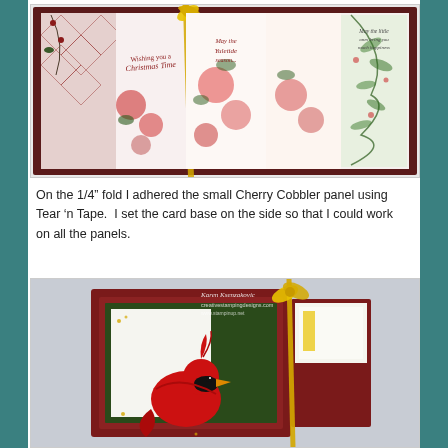[Figure (photo): An accordion-fold greeting card opened flat, showing multiple panels with Christmas-themed floral and botanical patterned paper in red, green, and white. A gold/yellow ribbon is tied around one of the folds. The panels feature stamped holiday sentiments including 'Wishing you a Christmas time', 'May the Yuletide season...', and another greeting. The card has a dark cherry/burgundy border frame.]
On the 1/4" fold I adhered the small Cherry Cobbler panel using Tear 'n Tape.  I set the card base on the side so that I could work on all the panels.
[Figure (photo): A Christmas card shown on its side, featuring a red cardinal bird stamped image in the center panel with dark green and burgundy mat layers. A yellow ribbon is visible at the top. The card panels are visible showing the layers and construction. A watermark reads 'Karen Ksenzakovic creativestampingdesigns.com'.]